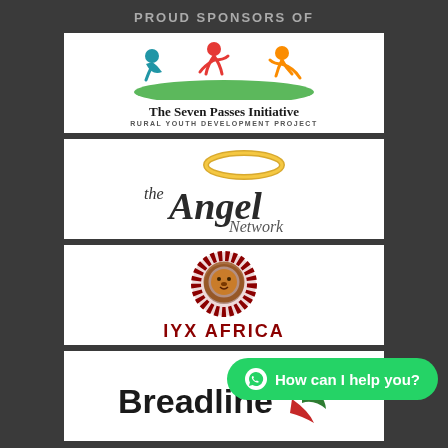PROUD SPONSORS OF
[Figure (logo): The Seven Passes Initiative logo — colourful figures of children, a green arc, text 'The Seven Passes Initiative' and 'RURAL YOUTH DEVELOPMENT PROJECT']
[Figure (logo): the Angel Network logo — gold halo above stylised text 'the Angel Network']
[Figure (logo): IYX Africa logo — red circular lion illustration above bold dark-red text 'IYX AFRICA']
[Figure (logo): Breadline logo — bold black text 'Breadline' with colourful swoosh/figure icon to the right]
How can I help you?